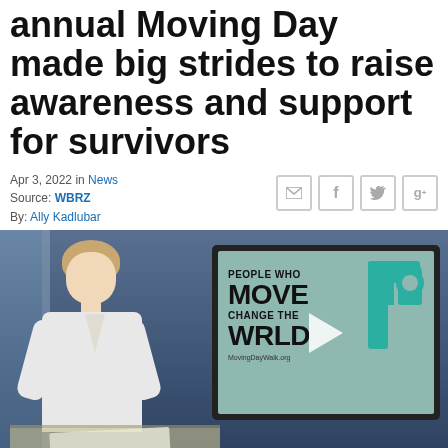annual Moving Day made big strides to raise awareness and support for survivors
Apr 3, 2022 in News
Source: WBRZ
By: Ally Kadlubar
[Figure (screenshot): News broadcast screenshot showing a female anchor at a desk with a TV screen displaying 'PEOPLE WHO MOVE CHANGE THE WORLD' with a teal P logo and MovingDayWalk.org URL]